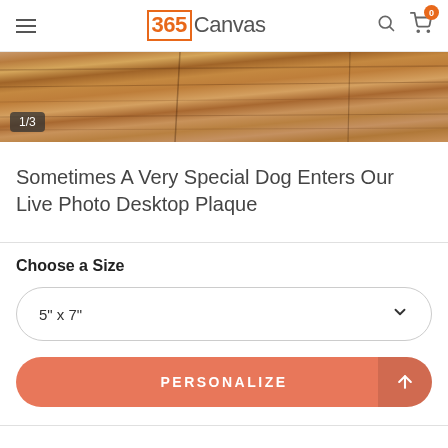365Canvas
[Figure (photo): Close-up of wooden planks with warm brown tones, showing wood grain texture. Counter badge shows '1/3'.]
Sometimes A Very Special Dog Enters Our Live Photo Desktop Plaque
Choose a Size
5" x 7"
PERSONALIZE